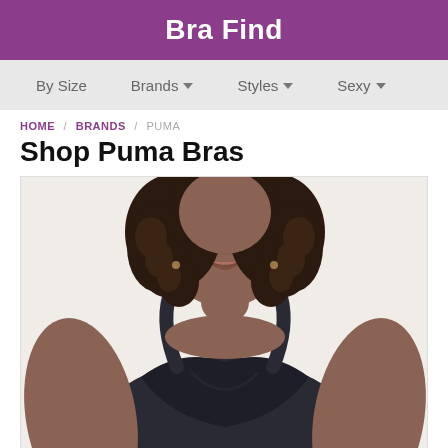Bra Find
By Size  Brands  Styles  Sexy
HOME / BRANDS / PUMA
Shop Puma Bras
[Figure (photo): Woman wearing a dark navy/black sports bra or athletic top with racerback straps, curly hair, smiling, cropped from shoulders to chin.]